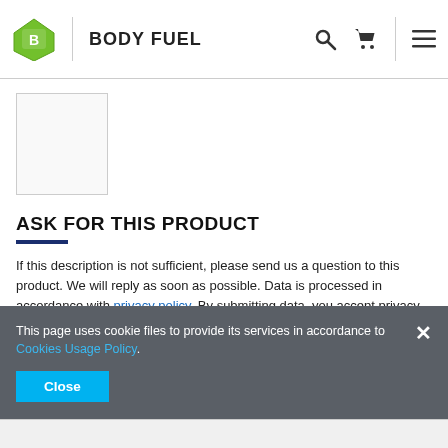[Figure (logo): Body Fuel logo with green diamond shield icon and bold text BODY FUEL]
[Figure (photo): Small white product thumbnail image placeholder]
ASK FOR THIS PRODUCT
If this description is not sufficient, please send us a question to this product. We will reply as soon as possible. Data is processed in accordance with privacy policy. By submitting data, you accept privacy
This page uses cookie files to provide its services in accordance to Cookies Usage Policy.
Close